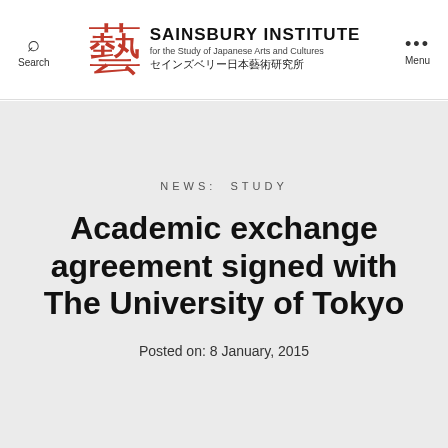[Figure (logo): Sainsbury Institute for the Study of Japanese Arts and Cultures logo with red kanji character and English/Japanese text]
NEWS: STUDY
Academic exchange agreement signed with The University of Tokyo
Posted on: 8 January, 2015